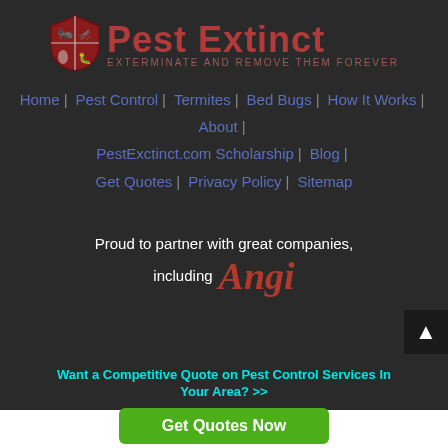[Figure (logo): Pest Extinct logo with shield icon, red text 'Pest Extinct' and subtitle 'Exterminate And Remove Them Forever']
Home | Pest Control | Termites | Bed Bugs | How It Works | About | PestExctinct.com Scholarship | Blog | Get Quotes | Privacy Policy | Sitemap
Proud to partner with great companies,
[Figure (logo): Angi logo in red italic serif font]
including
Want a Competitive Quote on Pest Control Services In Your Area? >>
Get Quotes Now